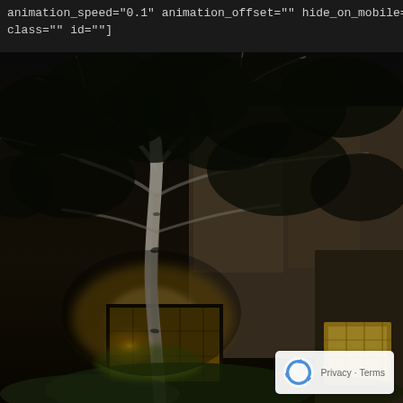animation_speed="0.1" animation_offset="" hide_on_mobile="no"
class="" id=""]
[Figure (photo): Night scene photograph showing a birch tree with white bark lit from below by warm yellow-orange landscape lighting, set against a dark building facade with illuminated windows. Green foliage surrounds the base. A reCAPTCHA privacy badge appears in the lower right corner.]